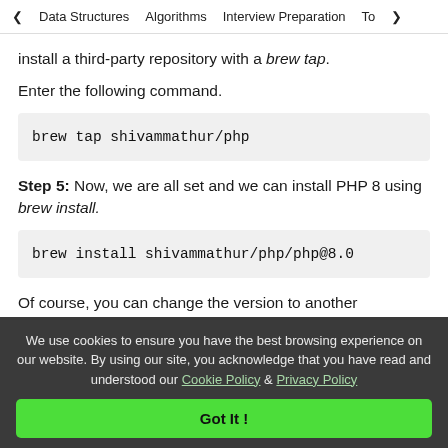< Data Structures   Algorithms   Interview Preparation   To>
install a third-party repository with a brew tap.
Enter the following command.
brew tap shivammathur/php
Step 5: Now, we are all set and we can install PHP 8 using brew install.
brew install shivammathur/php/php@8.0
Of course, you can change the version to another
We use cookies to ensure you have the best browsing experience on our website. By using our site, you acknowledge that you have read and understood our Cookie Policy & Privacy Policy
Got It !